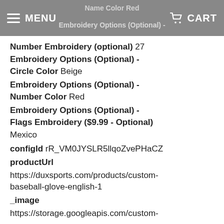Name Color Red | Embroidery Options (Optional) | MENU | CART
Number Embroidery (optional) 27
Embroidery Options (Optional) - Circle Color Beige
Embroidery Options (Optional) - Number Color Red
Embroidery Options (Optional) - Flags Embroidery ($9.99 - Optional)
Mexico
configId rR_VM0JYSLR5llqoZvePHaCZ
productUrl
https://duxsports.com/products/custom-baseball-glove-english-1
_image
https://storage.googleapis.com/custom-